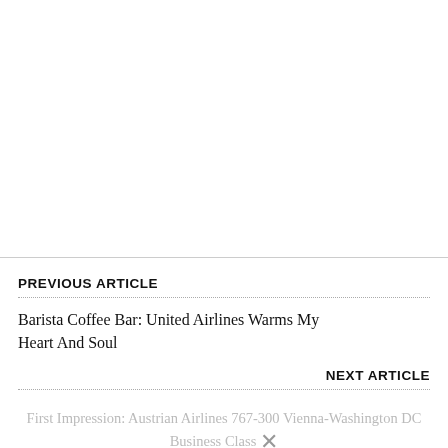[Figure (other): Blank white image area at top of page, above navigation links]
PREVIOUS ARTICLE
Barista Coffee Bar: United Airlines Warms My Heart And Soul
NEXT ARTICLE
First Impression: Austrian Airlines 767-300 Vienna-Washington DC Business Class